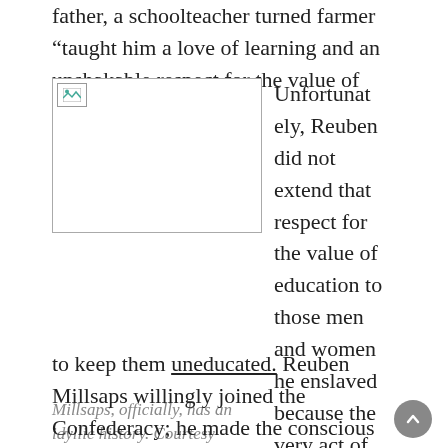father, a schoolteacher turned farmer “taught him a love of learning and an unshakable respect for the value of education.”
[Figure (photo): A historical photograph related to Millsaps College, shown as a broken image placeholder with a border.]
Millsaps, officially, has an idyllic history. Courtesy Millsaps College.
Unfortunately, Reuben did not extend that respect for the value of education to those men and women he enslaved because the very act of owning slaves meant you were legally bound to keep them uneducated. Reuben Millsaps willingly joined the Confederacy; he made the conscious decision
joined the Confederacy; he made the conscious decision